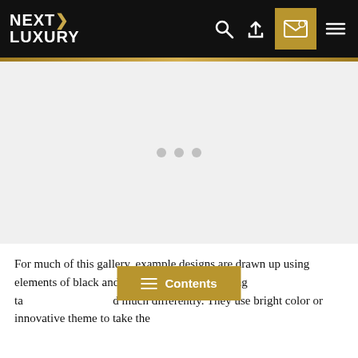NEXT LUXURY
[Figure (photo): Image placeholder area with three gray dots indicating a loading carousel or image gallery]
For much of this gallery, example designs are drawn up using elements of black and gray, but these angel wing tattoos are designed much differently. They use bright color or innovative themes to take the